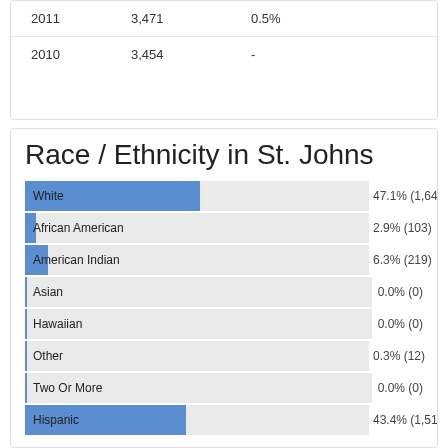| Year | Population | Change |
| --- | --- | --- |
| 2011 | 3,471 | 0.5% |
| 2010 | 3,454 | - |
Race / Ethnicity in St. Johns
[Figure (bar-chart): Race / Ethnicity in St. Johns]